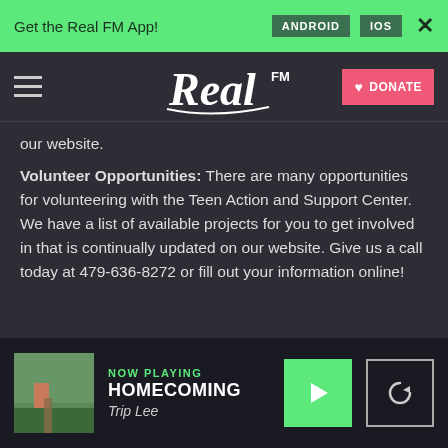Get the Real FM App! ANDROID IOS ×
[Figure (logo): Real FM logo in white script with FM superscript, on dark navigation bar with hamburger menu and pink Donate button]
our website.
Volunteer Opportunities: There are many opportunities for volunteering with the Teen Action and Support Center. We have a list of available projects for you to get involved in that is continually updated on our website. Give us a call today at 479-636-8272 or fill out your information online!
NOW PLAYING HOMECOMING Trip Lee